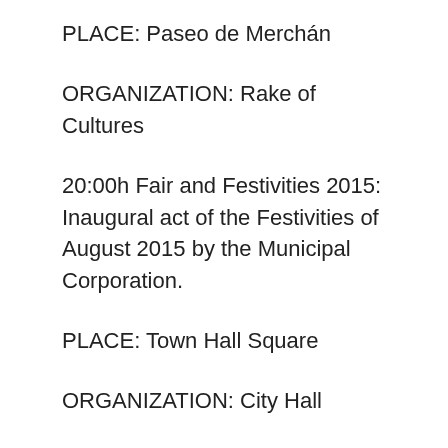PLACE: Paseo de Merchán
ORGANIZATION: Rake of Cultures
20:00h Fair and Festivities 2015: Inaugural act of the Festivities of August 2015 by the Municipal Corporation.
PLACE: Town Hall Square
ORGANIZATION: City Hall
20:30h Fair and Festivities 2015: Medieval Market – Parade of Giants, Giants, Bigheads, children's parades, accompanied by the Band Union Musical Benquerencia accompanied by the charanga Pikopolo